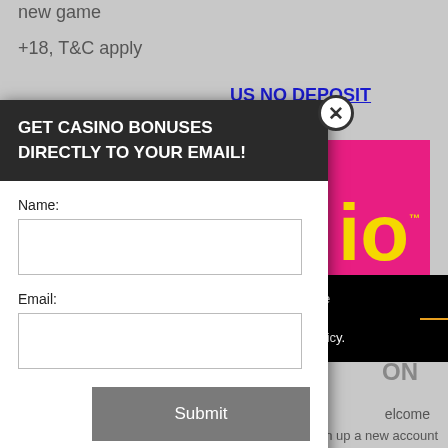new game
+18, T&C apply
US NO DEPOSIT
[Figure (logo): Pink/magenta square with yellow letters 'io' and TM mark]
berience, we use Using this site, kie & privacy policy.
ON
elcome
st sign up a new account
GET CASINO BONUSES DIRECTLY TO YOUR EMAIL!
Name:
Email:
Submit
By subscribing you are certifying that you have reviewed and accepted our updated Privacy and Cookie policy.